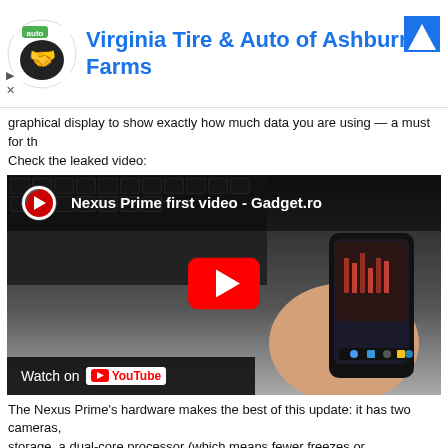[Figure (other): Advertisement banner for Virginia Tire & Auto of Ashburn Farms with logo, blue text title, and blue arrow icon]
graphical display to show exactly how much data you are using — a must for th… Check the leaked video:
[Figure (screenshot): YouTube embedded video thumbnail showing 'Nexus Prime first video - Gadget.ro' with a hand holding an Android phone, keyboard background, red YouTube play button overlay, and 'Watch on YouTube' bar at bottom]
The Nexus Prime's hardware makes the best of this update: it has two cameras, storage, a dual-core processor (which means fewer freezes or slowdowns), a t…